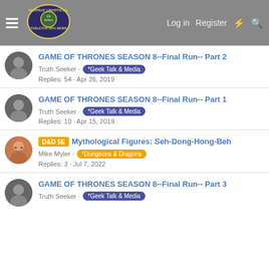Morrus' Unofficial Tabletop RPG News — Log in  Register
GAME OF THRONES SEASON 8--Final Run-- Part 2 | Truth Seeker · *Geek Talk & Media | Replies: 54 · Apr 26, 2019
GAME OF THRONES SEASON 8--Final Run-- Part 1 | Truth Seeker · *Geek Talk & Media | Replies: 10 · Apr 15, 2019
D&D 5E Mythological Figures: Seh-Dong-Hong-Beh | Mike Myler · *Dungeons & Dragons | Replies: 3 · Jul 7, 2022
GAME OF THRONES SEASON 8--Final Run-- Part 3 | Truth Seeker · *Geek Talk & Media